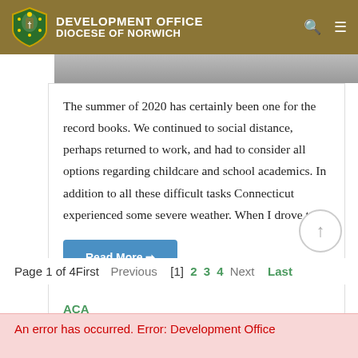Development Office Diocese of Norwich
[Figure (photo): Partial photo strip visible at top of content area]
The summer of 2020 has certainly been one for the record books. We continued to social distance, perhaps returned to work, and had to consider all options regarding childcare and school academics. In addition to all these difficult tasks Connecticut experienced some severe weather. When I drove t…
Read More →
ACA
Page 1 of 4First  Previous  [1]  2  3  4  Next  Last
An error has occurred. Error: Development Office